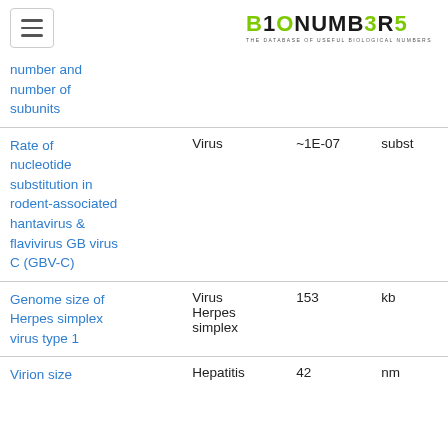B10NUMB3R5 — THE DATABASE OF USEFUL BIOLOGICAL NUMBERS
| Entry | Type | Value | Units |
| --- | --- | --- | --- |
| number and number of subunits |  |  |  |
| Rate of nucleotide substitution in rodent-associated hantavirus & flavivirus GB virus C (GBV-C) | Virus | ~1E-07 | subst |
| Genome size of Herpes simplex virus type 1 | Virus Herpes simplex | 153 | kb |
| Virion size | Hepatitis | 42 | nm |